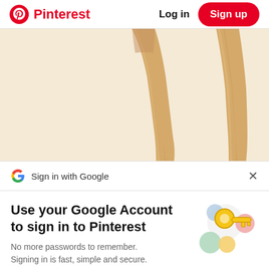Pinterest  Log in  Sign up
[Figure (photo): Close-up photo of light wood furniture legs on white background]
Sign in with Google
Use your Google Account to sign in to Pinterest
No more passwords to remember. Signing in is fast, simple and secure.
[Figure (illustration): Google key illustration with colorful circles and a golden key]